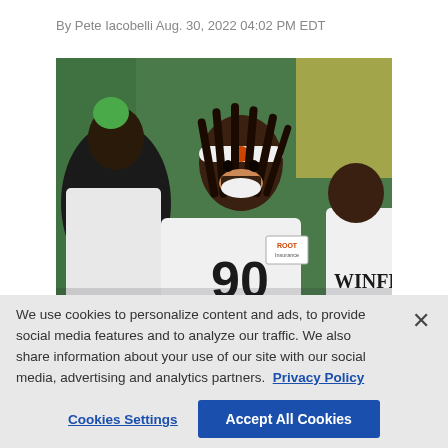By Pete Iacobelli Aug. 30, 2022 04:02 PM EDT
[Figure (photo): Football players in white jerseys at practice; the central player wears #90, a white headband, and has dreadlocks, smiling broadly. A Root Insurance logo patch is visible on the jersey.]
We use cookies to personalize content and ads, to provide social media features and to analyze our traffic. We also share information about your use of our site with our social media, advertising and analytics partners. Privacy Policy
Cookies Settings
Accept All Cookies